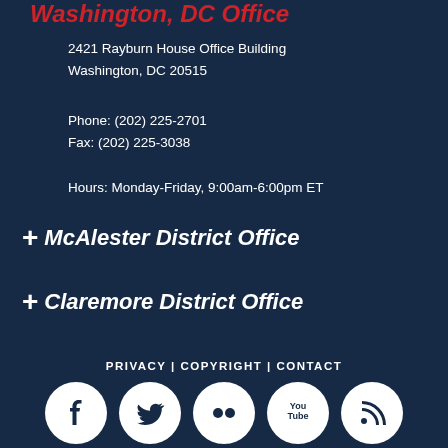Washington, DC Office
2421 Rayburn House Office Building
Washington, DC 20515
Phone: (202) 225-2701
Fax: (202) 225-3038
Hours: Monday-Friday, 9:00am-6:00pm ET
+ McAlester District Office
+ Claremore District Office
PRIVACY | COPYRIGHT | CONTACT
[Figure (illustration): Five white social media icons on circular backgrounds: Facebook, Twitter, Flickr, YouTube, RSS feed]